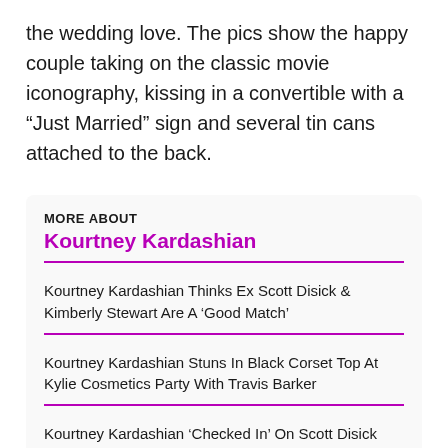the wedding love. The pics show the happy couple taking on the classic movie iconography, kissing in a convertible with a “Just Married” sign and several tin cans attached to the back.
MORE ABOUT
Kourtney Kardashian
Kourtney Kardashian Thinks Ex Scott Disick & Kimberly Stewart Are A ‘Good Match’
Kourtney Kardashian Stuns In Black Corset Top At Kylie Cosmetics Party With Travis Barker
Kourtney Kardashian ‘Checked In’ On Scott Disick After Scary Car Accident